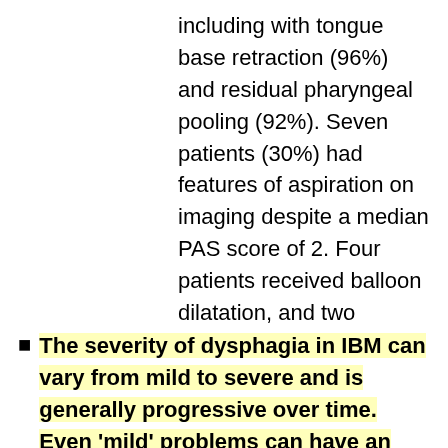including with tongue base retraction (96%) and residual pharyngeal pooling (92%). Seven patients (30%) had features of aspiration on imaging despite a median PAS score of 2. Four patients received balloon dilatation, and two patients underwent cricopharyngeal myotomy.
The severity of dysphagia in IBM can vary from mild to severe and is generally progressive over time. Even 'mild' problems can have an impact on quality of life due to the